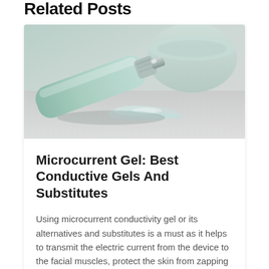Related Posts
[Figure (photo): Close-up photo of a clear gel tube lying on its side with gel squeezed out onto a white/grey surface, with a white bowl in the background. Soft, cool-toned lighting.]
Microcurrent Gel: Best Conductive Gels And Substitutes
Using microcurrent conductivity gel or its alternatives and substitutes is a must as it helps to transmit the electric current from the device to the facial muscles, protect the skin from zapping and enables the device